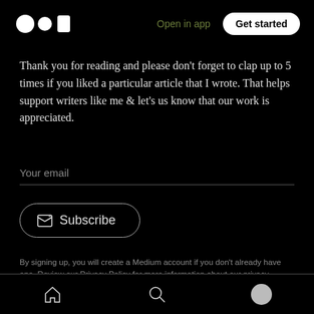Medium logo | Open in app | Get started
Thank you for reading and please don't forget to clap up to 5 times if you liked a particular article that I wrote. That helps support writers like me & let's us know that our work is appreciated.
Your email
Subscribe
By signing up, you will create a Medium account if you don't already have one. Review our Privacy Policy for more information about our privacy practices.
Home | Search | Profile